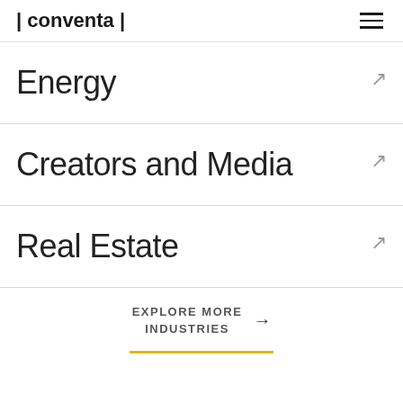| conventa |
Energy
Creators and Media
Real Estate
EXPLORE MORE INDUSTRIES →